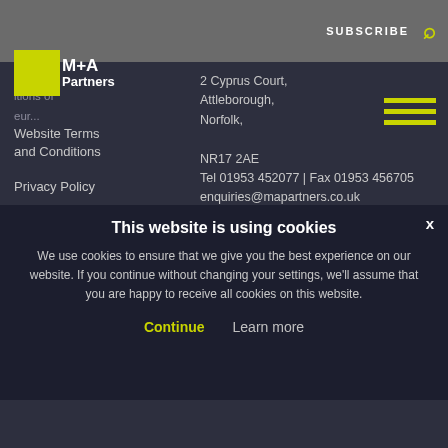SUBSCRIBE
[Figure (logo): M+A Partners logo with yellow square and white text]
Website Terms and Conditions
Privacy Policy
Cookie policy
COVID-19 Secure
2 Cyprus Court, Attleborough, Norfolk, NR17 2AE
Tel 01953 452077 | Fax 01953 456705
enquiries@mapartners.co.uk
CROMER
12 Church Street, Cromer, Norfolk, NR27 9ER
Tel 01263 513971 | Fax 01263 515049
north.norfolk@mapartners.co.uk
This website is using cookies
We use cookies to ensure that we give you the best experience on our website. If you continue without changing your settings, we'll assume that you are happy to receive all cookies on this website.
Continue   Learn more